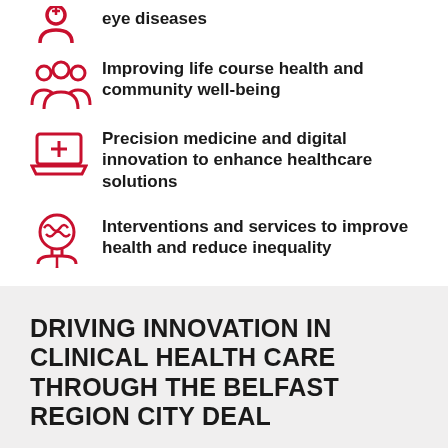eye diseases
Improving life course health and community well-being
Precision medicine and digital innovation to enhance healthcare solutions
Interventions and services to improve health and reduce inequality
DRIVING INNOVATION IN CLINICAL HEALTH CARE THROUGH THE BELFAST REGION CITY DEAL